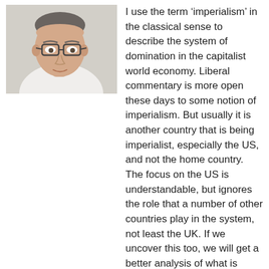[Figure (photo): Headshot photo of a middle-aged man with glasses wearing a white shirt]
I use the term ‘imperialism’ in the classical sense to describe the system of domination in the capitalist world economy. Liberal commentary is more open these days to some notion of imperialism. But usually it is another country that is being imperialist, especially the US, and not the home country. The focus on the US is understandable, but ignores the role that a number of other countries play in the system, not least the UK. If we uncover this too, we will get a better analysis of what is really going on in the world. I am based in London and my academic training is in economics and mathematics. I worked for 8 years as an economic consultant, and for close to 20 years in bank dealing rooms in the City, latterly as Executive Director in charge of analysing global FX markets for a major European bank. I have travelled to some 40 countries on business. At present I am researching imperialism and the world economy. I want this blog to generate informed debate & discussion. Comments are welcome. Nobody has all the answers; anyone can make mistakes. But that is no excuse for being an idiot and not seeking the truth.
View my complete profile
Powered by Blogger.